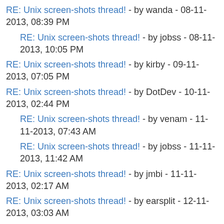RE: Unix screen-shots thread! - by wanda - 08-11-2013, 08:39 PM
RE: Unix screen-shots thread! - by jobss - 08-11-2013, 10:05 PM
RE: Unix screen-shots thread! - by kirby - 09-11-2013, 07:05 PM
RE: Unix screen-shots thread! - by DotDev - 10-11-2013, 02:44 PM
RE: Unix screen-shots thread! - by venam - 11-11-2013, 07:43 AM
RE: Unix screen-shots thread! - by jobss - 11-11-2013, 11:42 AM
RE: Unix screen-shots thread! - by jmbi - 11-11-2013, 02:17 AM
RE: Unix screen-shots thread! - by earsplit - 12-11-2013, 03:03 AM
RE: Unix screen-shots thread! - by z3bra - 12-11-2013, 11:18 AM
RE: Unix screen-shots thread! - by kirby - 16-11-2013, 09:03 AM
RE: Unix screen-shots thread! - by earsplit - 18-11-2013, 12:03 AM